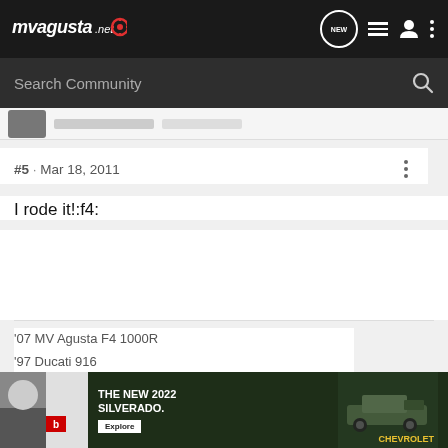mvagusta.net
Search Community
#5 · Mar 18, 2011
I rode it!:f4:
'07 MV Agusta F4 1000R
'97 Ducati 916
[Figure (screenshot): Ad banner for The New 2022 Silverado by Chevrolet with an Explore button]
THE NEW 2022 SILVERADO. Explore